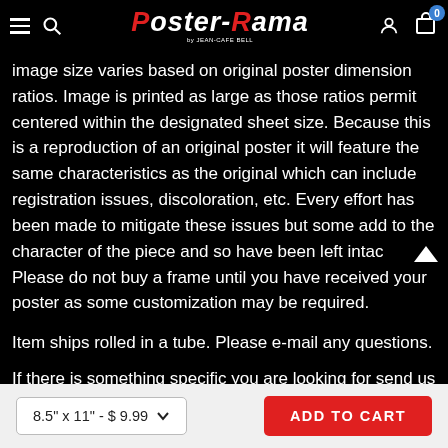Poster-Rama
image size varies based on original poster dimension ratios. Image is printed as large as those ratios permit centered within the designated sheet size. Because this is a reproduction of an original poster it will feature the same characteristics as the original which can include registration issues, discoloration, etc. Every effort has been made to mitigate these issues but some add to the character of the piece and so have been left intact. Please do not buy a frame until you have received your poster as some customization may be required.
Item ships rolled in a tube. Please e-mail any questions.
If there is something specific you are looking for send us a
8.5" x 11" - $9.99
ADD TO CART